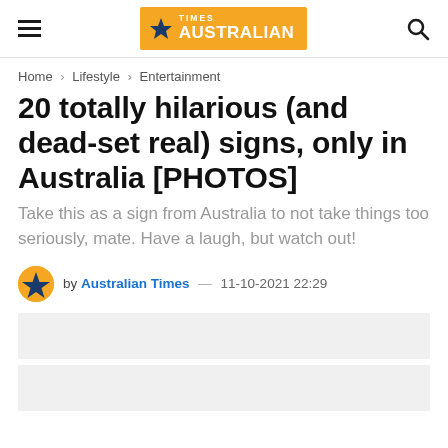TIMES AUSTRALIAN
Home > Lifestyle > Entertainment
20 totally hilarious (and dead-set real) signs, only in Australia [PHOTOS]
Take this as a sign from Australia to not take things too seriously, mate. Have a laugh, but watch out!
by Australian Times — 11-10-2021 22:29
[Figure (other): Gray placeholder content box 1]
[Figure (other): Gray placeholder content box 2]